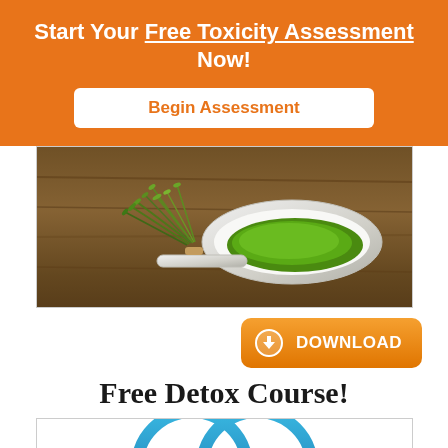Start Your Free Toxicity Assessment Now!
Begin Assessment
[Figure (photo): Photo of green herbal powder in a white spoon with fresh grass/herb sprigs on a wooden surface]
[Figure (illustration): Orange download button with circular download icon and text DOWNLOAD]
Free Detox Course!
[Figure (logo): Two overlapping circles forming a logo shape in blue gradient, partially visible]